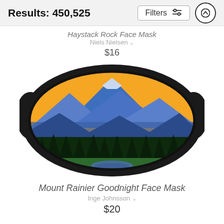Results: 450,525
Haystack Rock Face Mask
Niels Nielsen
$16
[Figure (photo): A face mask with a mountain landscape design showing Mount Rainier at sunset/dusk with blue mountains, pine trees, meadow, and a small lake reflecting the scene, with orange/yellow sky]
Mount Rainier Goodnight Face Mask
Inge Johnsson
$20